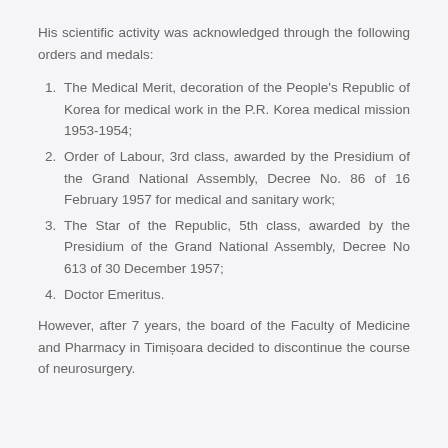His scientific activity was acknowledged through the following orders and medals:
The Medical Merit, decoration of the People's Republic of Korea for medical work in the P.R. Korea medical mission 1953-1954;
Order of Labour, 3rd class, awarded by the Presidium of the Grand National Assembly, Decree No. 86 of 16 February 1957 for medical and sanitary work;
The Star of the Republic, 5th class, awarded by the Presidium of the Grand National Assembly, Decree No 613 of 30 December 1957;
Doctor Emeritus.
However, after 7 years, the board of the Faculty of Medicine and Pharmacy in Timișoara decided to discontinue the course of neurosurgery.